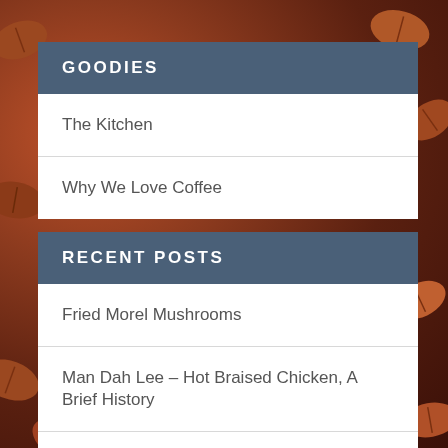GOODIES
The Kitchen
Why We Love Coffee
RECENT POSTS
Fried Morel Mushrooms
Man Dah Lee – Hot Braised Chicken, A Brief History
Skyline® Chili Cheese Dip
Bacon Wrapped Meatloaf